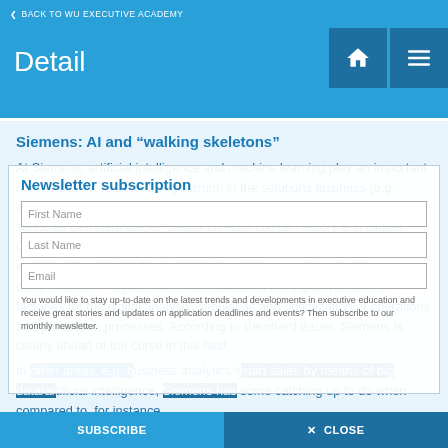BACK TO WU EXECUTIVE ACADEMY
Detail
Siemens: AI and “walking skeletons”
At Siemens, artificial intelligence and machine learning play an important role across the entire B2B spectrum: in the solutions business (e.g. automotive), in the services business, in software development and in sales, as Bernhard Bauer, Senior Director Digital Factory and Digital Officer of the Siemens industrial division in Austria and the CEE region, explains. The “Digital Factory” division of Siemens already offers comprehensive “digital enterprise” solutions, i.e. digital versions of factories for the digital analysis, simulation and optimization of operations and production processes. According to Bernhard Bauer, Siemens is clearly ahead of the curve in this field.
In other areas, e.g. business analytics/smart sales by means of big data/artificial intelligence, Siemens has some catching up to do when compared to, for instance,
Newsletter subscription
First Name
Last Name
Email
You would like to stay up-to-date on the latest trends and developments in executive education and receive great stories and updates on application deadlines and events? Then subscribe to our monthly newsletter.
SUBSCRIBE
✕ CLOSE